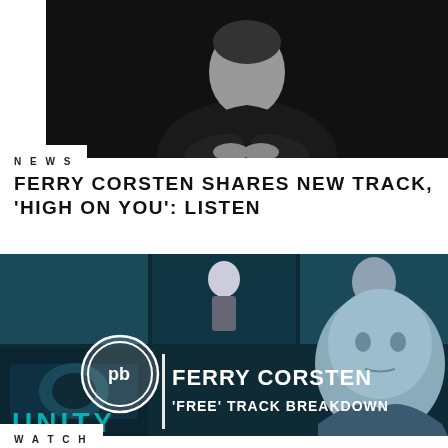[Figure (photo): Man in black blazer and white t-shirt seated against dark background, black and white photo]
NEWS
FERRY CORSTEN SHARES NEW TRACK, 'HIGH ON YOU': LISTEN
[Figure (photo): Ferry Corsten promotional image with 'Ferry Corsten Free Track Breakdown' text overlay and production logo, blue-tinted studio collage background with UNITY text at bottom]
WATCH